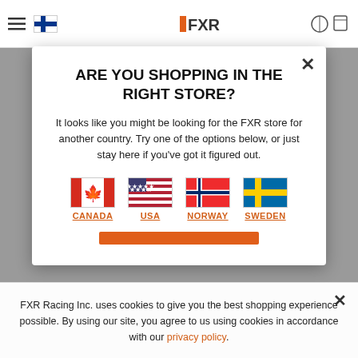[Figure (screenshot): Background website screenshot showing FXR Racing store page with navigation bar and partially visible content]
ARE YOU SHOPPING IN THE RIGHT STORE?
It looks like you might be looking for the FXR store for another country. Try one of the options below, or just stay here if you've got it figured out.
[Figure (infographic): Four country flag icons with links: Canada, USA, Norway, Sweden]
FXR Racing Inc. uses cookies to give you the best shopping experience possible. By using our site, you agree to us using cookies in accordance with our privacy policy.